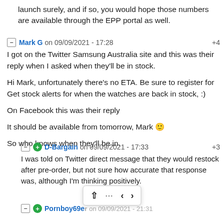launch surely, and if so, you would hope those numbers are available through the EPP portal as well.
Mark G on 09/09/2021 - 17:28  +4
I got on the Twitter Samsung Australia site and this was their reply when I asked when they'll be in stock.

Hi Mark, unfortunately there's no ETA. Be sure to register for Get stock alerts for when the watches are back in stock, :)

On Facebook this was their reply

It should be available from tomorrow, Mark 🙂

So who knows when they'll be in.
D-Bargain on 09/09/2021 - 17:33  +3
I was told on Twitter direct message that they would restock after pre-order, but not sure how accurate that response was, although I'm thinking positively.
Pornboy69er on 09/09/2021 - 21:31